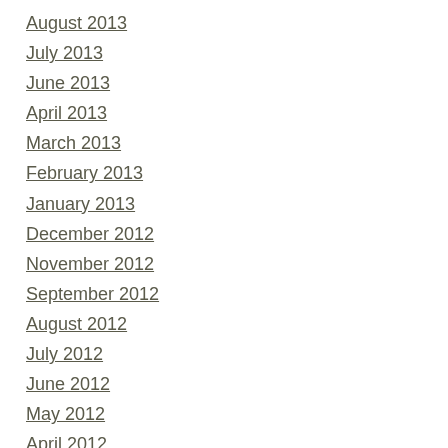August 2013
July 2013
June 2013
April 2013
March 2013
February 2013
January 2013
December 2012
November 2012
September 2012
August 2012
July 2012
June 2012
May 2012
April 2012
March 2012
February 2012
January 2012
December 2011